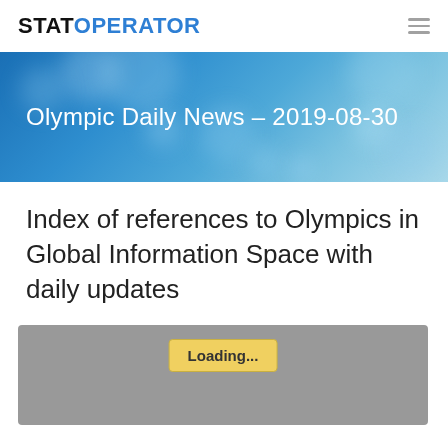STATOPERATOR
[Figure (illustration): Blue bokeh background banner with white text reading: Olympic Daily News – 2019-08-30]
Index of references to Olympics in Global Information Space with daily updates
[Figure (screenshot): Gray loading placeholder area with a yellow 'Loading...' button in the upper center]